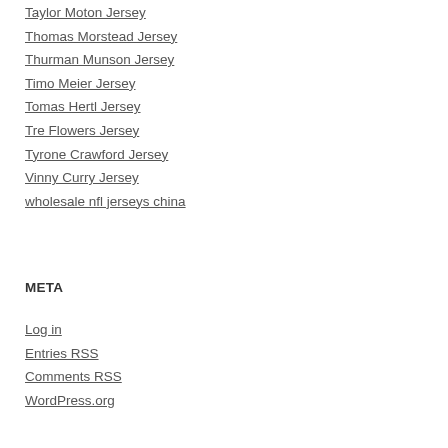Taylor Moton Jersey
Thomas Morstead Jersey
Thurman Munson Jersey
Timo Meier Jersey
Tomas Hertl Jersey
Tre Flowers Jersey
Tyrone Crawford Jersey
Vinny Curry Jersey
wholesale nfl jerseys china
META
Log in
Entries RSS
Comments RSS
WordPress.org